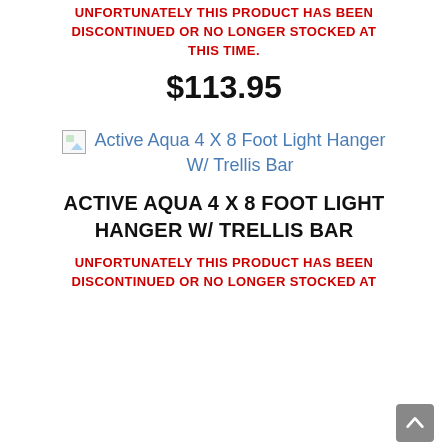UNFORTUNATELY THIS PRODUCT HAS BEEN DISCONTINUED OR NO LONGER STOCKED AT THIS TIME.
$113.95
[Figure (other): Broken image placeholder with link text: Active Aqua 4 X 8 Foot Light Hanger W/ Trellis Bar]
ACTIVE AQUA 4 X 8 FOOT LIGHT HANGER W/ TRELLIS BAR
UNFORTUNATELY THIS PRODUCT HAS BEEN DISCONTINUED OR NO LONGER STOCKED AT